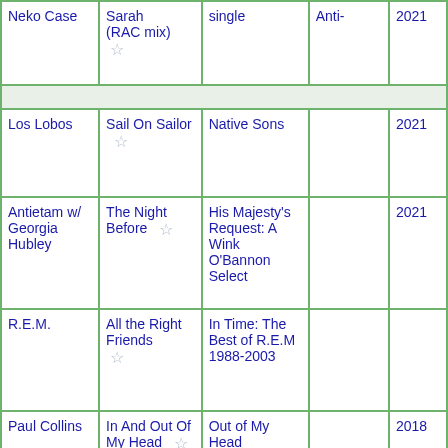| Artist | Song | Album | Label | Year |
| --- | --- | --- | --- | --- |
| Neko Case | Ruhr Di Sarah (RAC mix) | single | Anti- | 2021 |
|  |  |  |  |  |
| Los Lobos | Sail On Sailor | Native Sons |  | 2021 |
| Antietam w/ Georgia Hubley | The Night Before | His Majesty's Request: A Wink O'Bannon Select |  | 2021 |
| R.E.M. | All the Right Friends | In Time: The Best of R.E.M 1988-2003 |  |  |
| Paul Collins | In And Out Of My Head | Out of My Head |  | 2018 |
| Brian Olive | Silver Flower | Living On Top |  | 2018 |
|  | Your |  |  |  |